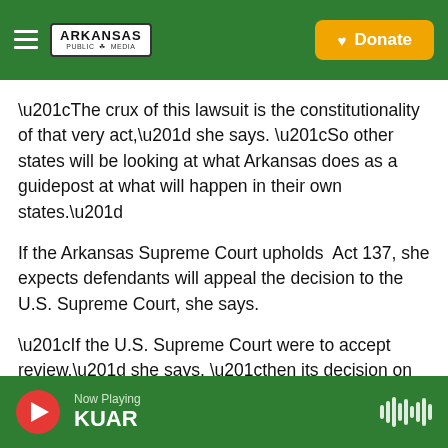[Figure (logo): Arkansas Public Media header with hamburger menu, logo, and Donate button on green background]
“The crux of this lawsuit is the constitutionality of that very act,” she says. “So other states will be looking at what Arkansas does as a guidepost at what will happen in their own states.”
If the Arkansas Supreme Court upholds  Act 137, she expects defendants will appeal the decision to the U.S. Supreme Court, she says.
“If the U.S. Supreme Court were to accept review,” she says, “then its decision on the constitutionality of laws like Act 137 would become nationwide law.”
Now Playing KUAR